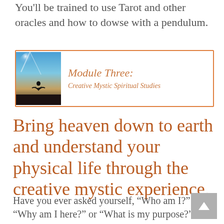You'll be trained to use Tarot and other oracles and how to dowse with a pendulum.
[Figure (illustration): Module Three banner with silhouette of person meditating, orange border, italic text reading 'Module Three: Creative Mystic Spiritual Studies']
Bring heaven down to earth and understand your physical life through the creative mystic experience.
Have you ever asked yourself, “Who am I?” or “Why am I here?” or “What is my purpose?” If so, can you